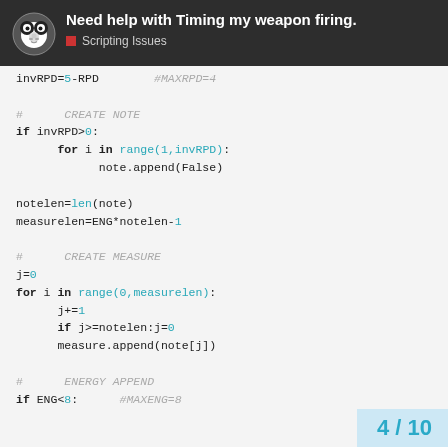Need help with Timing my weapon firing. | Scripting Issues
invRPD=5-RPD    #MAXRPD=4

#    CREATE NOTE
if invRPD>0:
    for i in range(1,invRPD):
        note.append(False)

notelen=len(note)
measurelen=ENG*notelen-1

#    CREATE MEASURE
j=0
for i in range(0,measurelen):
    j+=1
    if j>=notelen:j=0
    measure.append(note[j])

#    ENERGY APPEND
if ENG<8:    #MAXENG=8
4 / 10